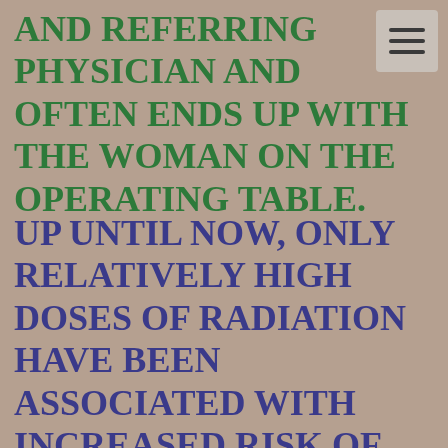AND REFERRING PHYSICIAN AND OFTEN ENDS UP WITH THE WOMAN ON THE OPERATING TABLE.
UP UNTIL NOW, ONLY RELATIVELY HIGH DOSES OF RADiATION HAVE BEEN ASSOCIATED WITH INCREASED RISK OF BREAST CANCER. HOWEVER, NEW EVIDENCE DEMONSTRATES THAT EVEN MODERATE STRENGTHS OF STRONG X-RAYS RAISE THE RISK OF BREAST CANCER FIVE OR SIX